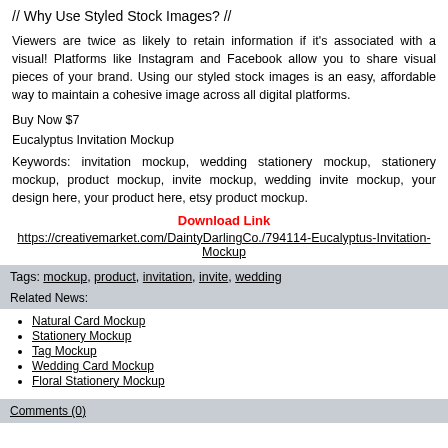// Why Use Styled Stock Images? //
Viewers are twice as likely to retain information if it's associated with a visual! Platforms like Instagram and Facebook allow you to share visual pieces of your brand. Using our styled stock images is an easy, affordable way to maintain a cohesive image across all digital platforms.
Buy Now $7
Eucalyptus Invitation Mockup
Keywords: invitation mockup, wedding stationery mockup, stationery mockup, product mockup, invite mockup, wedding invite mockup, your design here, your product here, etsy product mockup.
Download Link
https://creativemarket.com/DaintyDarlingCo./794114-Eucalyptus-Invitation-Mockup
Tags: mockup, product, invitation, invite, wedding
Related News:
Natural Card Mockup
Stationery Mockup
Tag Mockup
Wedding Card Mockup
Floral Stationery Mockup
Comments (0)